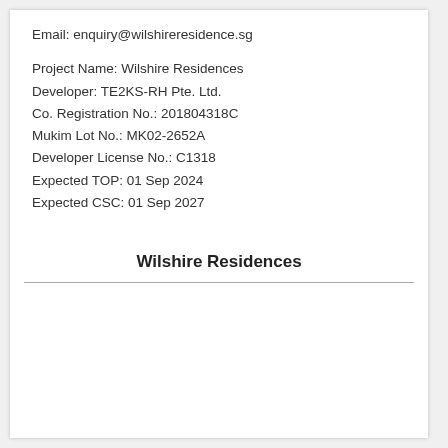Email: enquiry@wilshireresidence.sg
Project Name: Wilshire Residences
Developer: TE2KS-RH Pte. Ltd.
Co. Registration No.: 201804318C
Mukim Lot No.: MK02-2652A
Developer License No.: C1318
Expected TOP: 01 Sep 2024
Expected CSC: 01 Sep 2027
Wilshire Residences